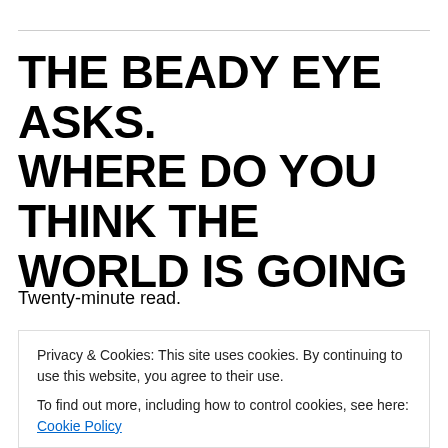THE BEADY EYE ASKS. WHERE DO YOU THINK THE WORLD IS GOING
Twenty-minute read.
Does our perception of the world
Privacy & Cookies: This site uses cookies. By continuing to use this website, you agree to their use.
To find out more, including how to control cookies, see here: Cookie Policy
Close and accept